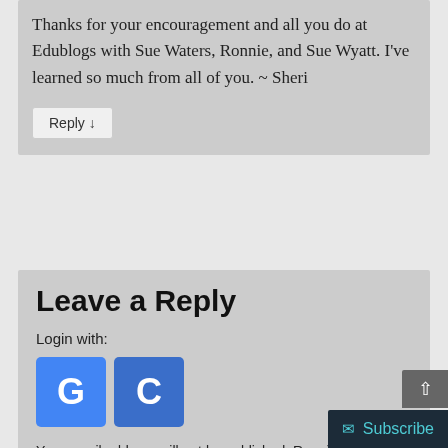Thanks for your encouragement and all you do at Edublogs with Sue Waters, Ronnie, and Sue Wyatt. I've learned so much from all of you. ~ Sheri
Reply ↓
Leave a Reply
Login with:
[Figure (logo): Google G login button (blue square with white G) and Classlink C login button (blue square with white C)]
Your email address will not be published. Required fields are marked *